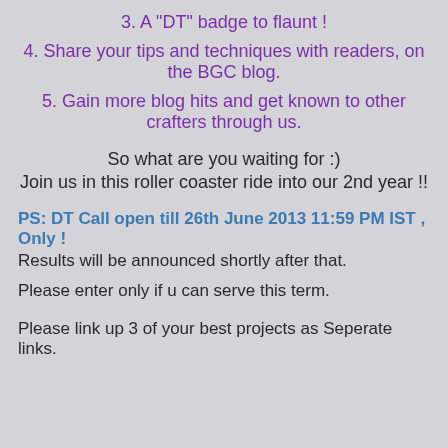3. A "DT" badge to flaunt !
4. Share your tips and techniques with readers, on the BGC blog.
5. Gain more blog hits and get known to other crafters through us.
So what are you waiting for :)
Join us in this roller coaster ride into our 2nd year !!
PS: DT Call open till 26th June 2013 11:59 PM IST , Only !
Results will be announced shortly after that.
Please enter only if u can serve this term.
Please link up 3 of your best projects as Seperate links.